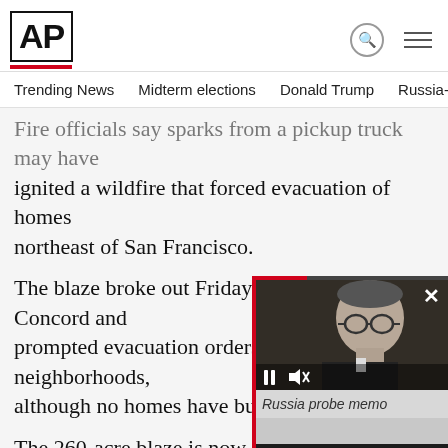AP
Trending News  Midterm elections  Donald Trump  Russia-Ukr
Fire officials say sparks from a pickup truck may have ignited a wildfire that forced evacuation of homes northeast of San Francisco.
The blaze broke out Friday afternoon in Concord and prompted evacuation orders for two neighborhoods, although no homes have burned.
The 260-acre blaze is now 75 perce
KRON-TV says 200 to 300 homes however, until firefighters are sure
[Figure (screenshot): Video player overlay showing a man with glasses (Russia probe memo segment). Controls include pause, mute buttons and close X. Caption reads 'Russia probe memo'.]
e moved through heavy bru yards of some houses.